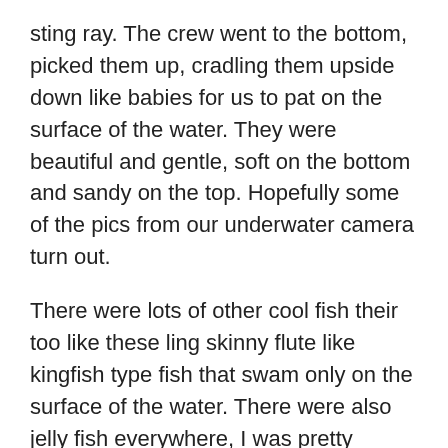sting ray. The crew went to the bottom, picked them up, cradling them upside down like babies for us to pat on the surface of the water. They were beautiful and gentle, soft on the bottom and sandy on the top. Hopefully some of the pics from our underwater camera turn out.
There were lots of other cool fish their too like these ling skinny flute like kingfish type fish that swam only on the surface of the water. There were also jelly fish everywhere, I was pretty worried but they were harmless.
The second reef was at the ‘drop off’ just like on Finding Nemo. The ocean went from 15 feet to 60 feet over the ledge. Was awesome. Huge schools of fish everywhere, from little blue and orange ones to big silver and yellow ones.
After